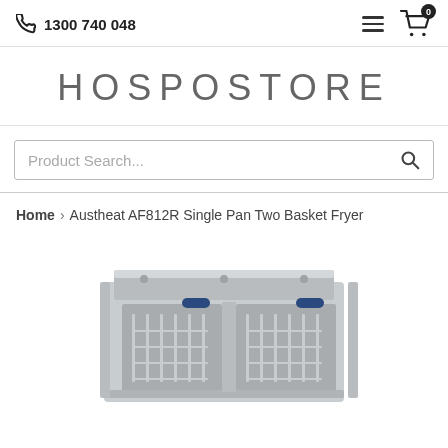1300 740 048
HOSPOSTORE
Product Search...
Home › Austheat AF812R Single Pan Two Basket Fryer
[Figure (photo): Austheat AF812R Single Pan Two Basket Fryer - stainless steel countertop deep fryer with two wire baskets, viewed from above at an angle showing the frying baskets and back panel]